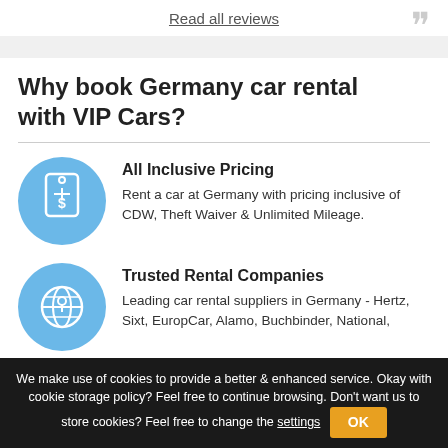Read all reviews
Why book Germany car rental with VIP Cars?
All Inclusive Pricing
Rent a car at Germany with pricing inclusive of CDW, Theft Waiver & Unlimited Mileage.
Trusted Rental Companies
Leading car rental suppliers in Germany - Hertz, Sixt, EuropCar, Alamo, Buchbinder, National, Enterprise, Global rent a car, Keddy, Ania Rent
We make use of cookies to provide a better & enhanced service. Okay with cookie storage policy? Feel free to continue browsing. Don't want us to store cookies? Feel free to change the settings
Lowest Price...